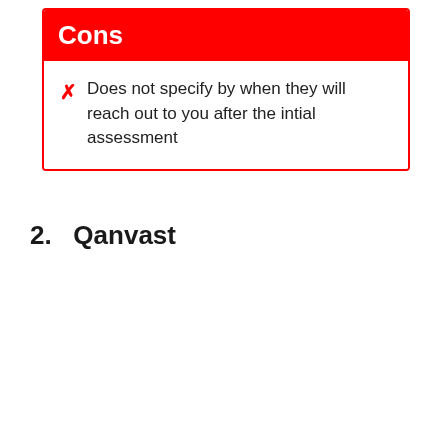Cons
Does not specify by when they will reach out to you after the intial assessment
2.   Qanvast